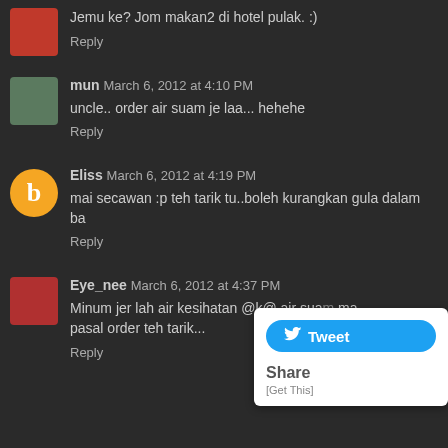Jemu ke? Jom makan2 di hotel pulak. :)
Reply
mun March 6, 2012 at 4:10 PM
uncle.. order air suam je laa... hehehe
Reply
Eliss March 6, 2012 at 4:19 PM
mai secawan :p teh tarik tu..boleh kurangkan gula dalam ba
Reply
Eye_nee March 6, 2012 at 4:37 PM
Minum jer lah air kesihatan @k@ air suam ma pasal order teh tarik...
Reply